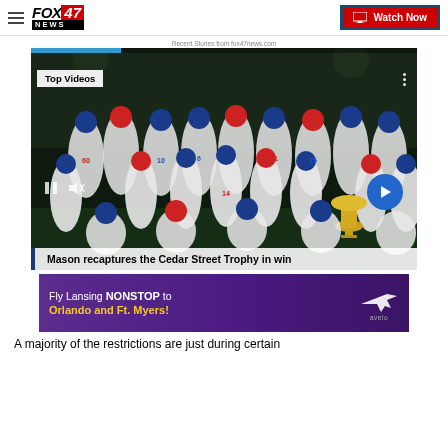FOX 47 NEWS | Watch Now
Recent Stories from fox47news.com
[Figure (photo): Fox 47 News video player showing Mason football team celebrating with Cedar Street Trophy, overlaid with Top Videos badge, playback controls, and caption 'Mason recaptures the Cedar Street Trophy in win']
Mason recaptures the Cedar Street Trophy in win
[Figure (photo): Advertisement banner: Fly Lansing NONSTOP to Orlando and Ft. Myers! with Avelo Airlines logo]
A majority of the restrictions are just during certain